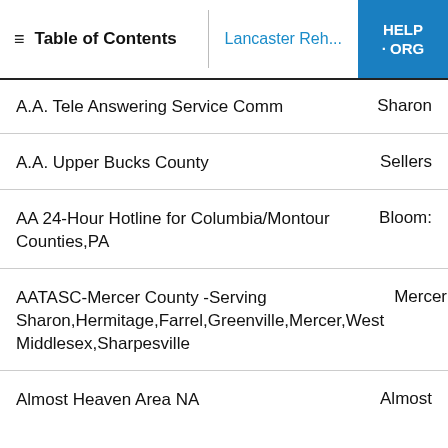Table of Contents | Lancaster Reh... | HELP · ORG
A.A. Tele Answering Service Comm — Sharon
A.A. Upper Bucks County — Sellers
AA 24-Hour Hotline for Columbia/Montour Counties,PA — Bloom:
AATASC-Mercer County -Serving Sharon,Hermitage,Farrel,Greenville,Mercer,West Middlesex,Sharpesville — Mercer
Almost Heaven Area NA — Almost